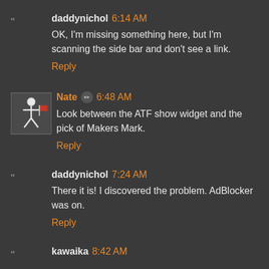daddynichol 6:14 AM
OK, I'm missing something here, but I'm scanning the side bar and don't see a link.
Reply
Nate ✏ 6:48 AM
Look between the ATF show widget and the pick of Makers Mark.
Reply
daddynichol 7:24 AM
There it is! I discovered the problem. AdBlocker was on.
Reply
kawaika 8:42 AM